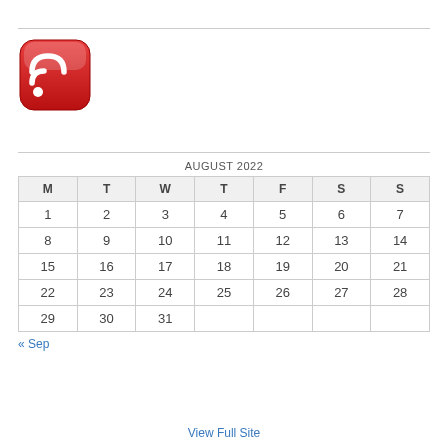[Figure (logo): RSS feed icon — red rounded square with white RSS signal waves and dot]
| M | T | W | T | F | S | S |
| --- | --- | --- | --- | --- | --- | --- |
| 1 | 2 | 3 | 4 | 5 | 6 | 7 |
| 8 | 9 | 10 | 11 | 12 | 13 | 14 |
| 15 | 16 | 17 | 18 | 19 | 20 | 21 |
| 22 | 23 | 24 | 25 | 26 | 27 | 28 |
| 29 | 30 | 31 |  |  |  |  |
« Sep